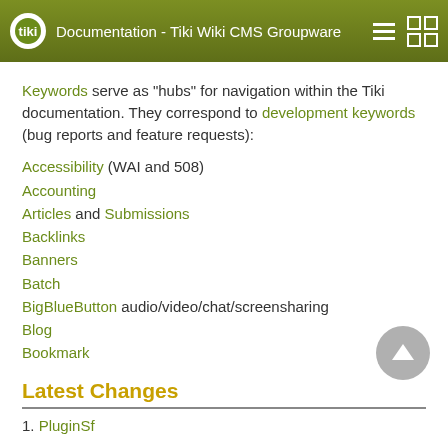Documentation - Tiki Wiki CMS Groupware
Keywords serve as "hubs" for navigation within the Tiki documentation. They correspond to development keywords (bug reports and feature requests):
Accessibility (WAI and 508)
Accounting
Articles and Submissions
Backlinks
Banners
Batch
BigBlueButton audio/video/chat/screensharing
Blog
Bookmark
Latest Changes
1. PluginSf